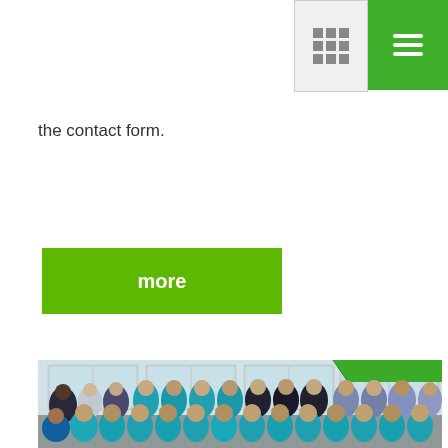[Figure (other): Navigation bar with grid icon in gray box and hamburger menu icon in green box, positioned top right]
the contact form.
[Figure (other): Green 'more' button]
[Figure (photo): Group photo of approximately 20 people, many wearing teal/turquoise uniforms, standing and kneeling in front of a building with glass doors. A green awning is visible in the top right.]